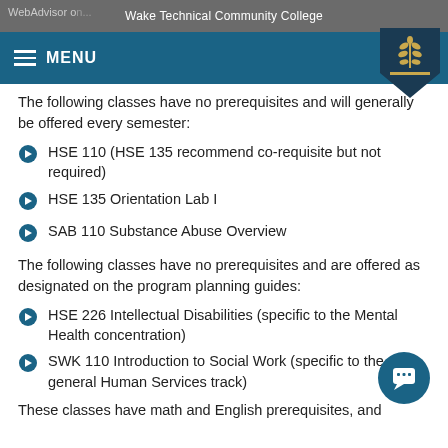Wake Technical Community College
The following classes have no prerequisites and will generally be offered every semester:
HSE 110 (HSE 135 recommend co-requisite but not required)
HSE 135 Orientation Lab I
SAB 110 Substance Abuse Overview
The following classes have no prerequisites and are offered as designated on the program planning guides:
HSE 226 Intellectual Disabilities (specific to the Mental Health concentration)
SWK 110 Introduction to Social Work (specific to the general Human Services track)
These classes have math and English prerequisites, and